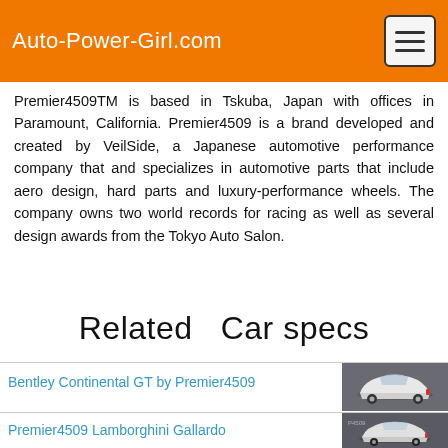Auto-Power-Girl.com
Premier4509TM is based in Tskuba, Japan with offices in Paramount, California. Premier4509 is a brand developed and created by VeilSide, a Japanese automotive performance company that and specializes in automotive parts that include aero design, hard parts and luxury-performance wheels. The company owns two world records for racing as well as several design awards from the Tokyo Auto Salon.
Related  Car specs
Bentley Continental GT by Premier4509
[Figure (photo): White Bentley Continental GT with body kit, rear three-quarter view on dark background]
Premier4509 Lamborghini Gallardo
[Figure (photo): White Lamborghini Gallardo with body kit, rear three-quarter view on dark background]